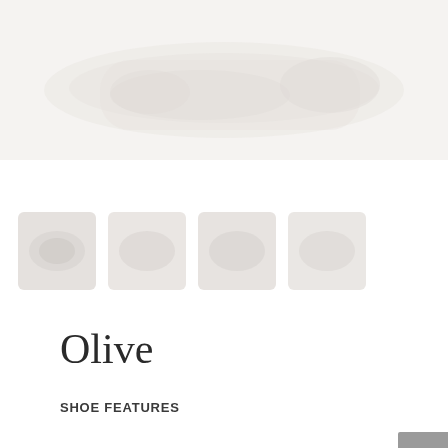[Figure (photo): Large faded product image at the top of the page, showing a shoe in very light/washed out tones against a white background]
[Figure (photo): Row of small thumbnail images of shoes below the main image, very faint/light tones]
Olive
SHOE FEATURES